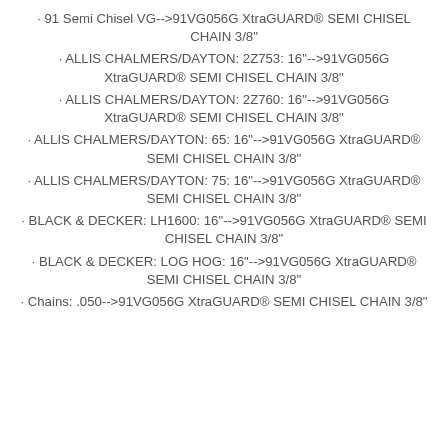· 91 Semi Chisel VG-->91VG056G XtraGUARD® SEMI CHISEL CHAIN 3/8"
· ALLIS CHALMERS/DAYTON: 2Z753: 16"-->91VG056G XtraGUARD® SEMI CHISEL CHAIN 3/8"
· ALLIS CHALMERS/DAYTON: 2Z760: 16"-->91VG056G XtraGUARD® SEMI CHISEL CHAIN 3/8"
· ALLIS CHALMERS/DAYTON: 65: 16"-->91VG056G XtraGUARD® SEMI CHISEL CHAIN 3/8"
· ALLIS CHALMERS/DAYTON: 75: 16"-->91VG056G XtraGUARD® SEMI CHISEL CHAIN 3/8"
· BLACK & DECKER: LH1600: 16"-->91VG056G XtraGUARD® SEMI CHISEL CHAIN 3/8"
· BLACK & DECKER: LOG HOG: 16"-->91VG056G XtraGUARD® SEMI CHISEL CHAIN 3/8"
· Chains: .050-->91VG056G XtraGUARD® SEMI CHISEL CHAIN 3/8"